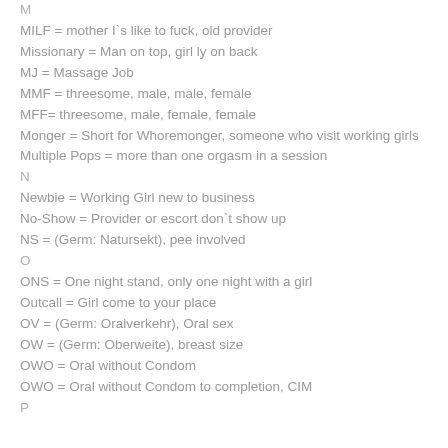M
MILF = mother I`s like to fuck, old provider
Missionary = Man on top, girl ly on back
MJ = Massage Job
MMF = threesome, male, male, female
MFF= threesome, male, female, female
Monger = Short for Whoremonger, someone who visit working girls
Multiple Pops = more than one orgasm in a session
N
Newbie = Working Girl new to business
No-Show = Provider or escort don`t show up
NS = (Germ: Natursekt), pee involved
O
ONS = One night stand, only one night with a girl
Outcall = Girl come to your place
OV = (Germ: Oralverkehr), Oral sex
OW = (Germ: Oberweite), breast size
OWO = Oral without Condom
OWO = Oral without Condom to completion, CIM
P